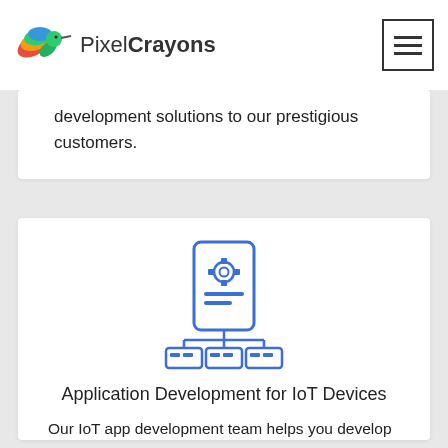PixelCrayons
development solutions to our prestigious customers.
[Figure (illustration): IoT devices network icon: a smartphone with a gear and lines, connected to three smaller device boxes below via lines]
Application Development for IoT Devices
Our IoT app development team helps you develop a specific app for different devices, helping you reach your business goal and make the most of IoT development technology.